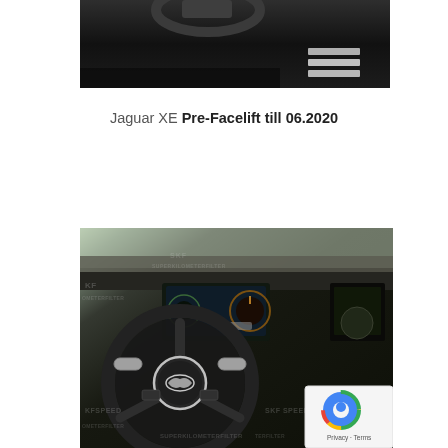[Figure (photo): Top portion of Jaguar car interior showing steering wheel top and metal pedals against dark background]
Jaguar XE Pre-Facelift till 06.2020
[Figure (photo): Interior of Jaguar XE showing steering wheel with Jaguar leaping cat logo, digital instrument cluster, and infotainment screen. Watermarked with SKF SPEED SUPERKILOMETERFILTER logo.]